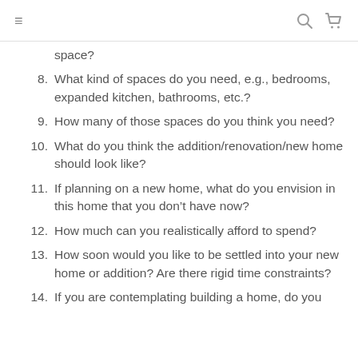≡  Q  🛒
space?
8. What kind of spaces do you need, e.g., bedrooms, expanded kitchen, bathrooms, etc.?
9. How many of those spaces do you think you need?
10. What do you think the addition/renovation/new home should look like?
11. If planning on a new home, what do you envision in this home that you don't have now?
12. How much can you realistically afford to spend?
13. How soon would you like to be settled into your new home or addition? Are there rigid time constraints?
14. If you are contemplating building a home, do you